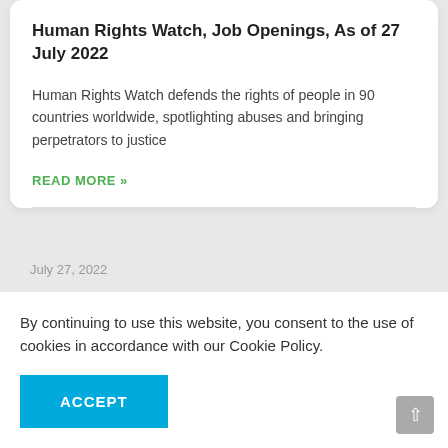Human Rights Watch, Job Openings, As of 27 July 2022
Human Rights Watch defends the rights of people in 90 countries worldwide, spotlighting abuses and bringing perpetrators to justice
READ MORE »
July 27, 2022
cation
1-27
By continuing to use this website, you consent to the use of cookies in accordance with our Cookie Policy.
ACCEPT
ation
uly 2022.